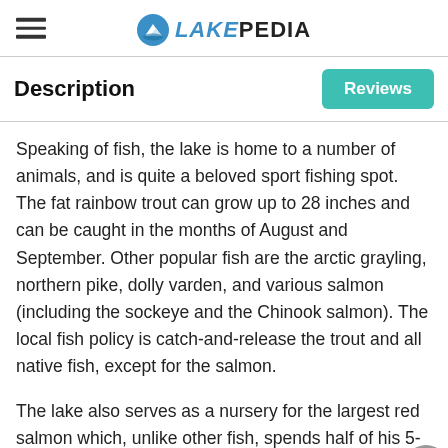LakePedia
Description
Speaking of fish, the lake is home to a number of animals, and is quite a beloved sport fishing spot. The fat rainbow trout can grow up to 28 inches and can be caught in the months of August and September. Other popular fish are the arctic grayling, northern pike, dolly varden, and various salmon (including the sockeye and the Chinook salmon). The local fish policy is catch-and-release the trout and all native fish, except for the salmon.
The lake also serves as a nursery for the largest red salmon which, unlike other fish, spends half of his 5-year lifespan in fresh water.